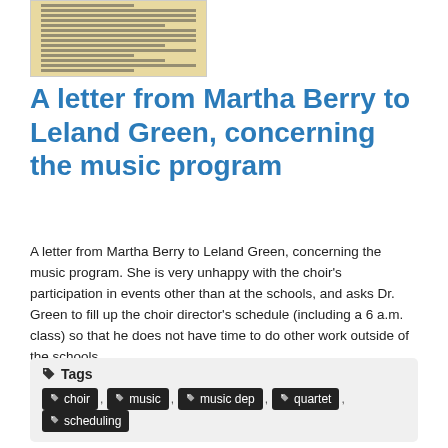[Figure (photo): A scanned vintage letter on aged yellowish paper with typed text.]
A letter from Martha Berry to Leland Green, concerning the music program
A letter from Martha Berry to Leland Green, concerning the music program. She is very unhappy with the choir's participation in events other than at the schools, and asks Dr. Green to fill up the choir director's schedule (including a 6 a.m. class) so that he does not have time to do other work outside of the schools.
Tags: choir, music, music dep, quartet, scheduling